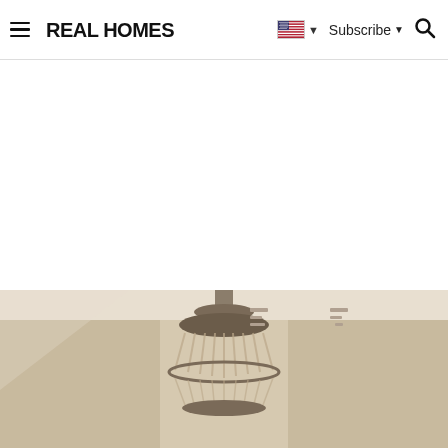REAL HOMES — Subscribe — Search
[Figure (photo): Bottom portion of a room interior showing a crystal chandelier hanging from the ceiling, with white walls and some indistinct wall art or frames on either side.]